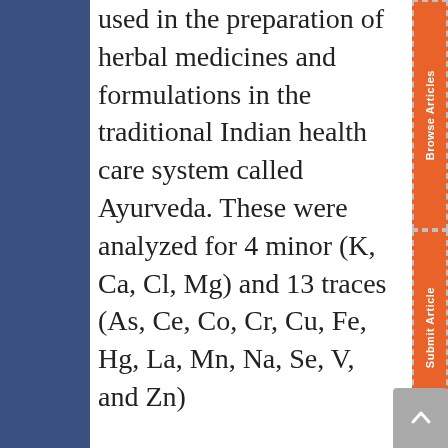used in the preparation of herbal medicines and formulations in the traditional Indian health care system called Ayurveda. These were analyzed for 4 minor (K, Ca, Cl, Mg) and 13 traces (As, Ce, Co, Cr, Cu, Fe, Hg, La, Mn, Na, Se, V, and Zn)